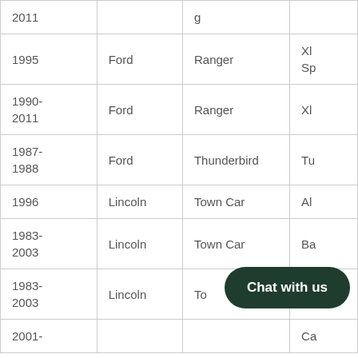| Year | Make | Model | Trim |
| --- | --- | --- | --- |
| 2011 |  |  |  |
| 1995 | Ford | Ranger | XL Sp |
| 1990-2011 | Ford | Ranger | XL |
| 1987-1988 | Ford | Thunderbird | Tu |
| 1996 | Lincoln | Town Car | Al |
| 1983-2003 | Lincoln | Town Car | Ba |
| 1983-2003 | Lincoln | To | Ca |
| 2001- |  |  | Ca |